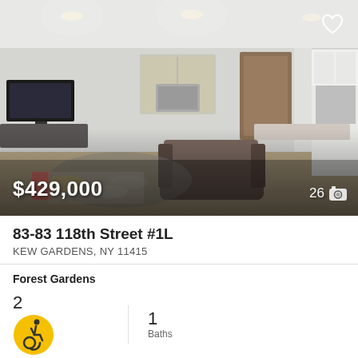[Figure (photo): Interior photo of a cluttered living room/kitchen area with a recliner sofa, TV, toys on floor, and open kitchen visible. Hardwood floors, white cabinets, recessed lighting.]
$429,000
26 📷
83-83 118th Street #1L
KEW GARDENS, NY 11415
Forest Gardens
2 Beds (with wheelchair accessibility icon)
1 Baths
Listing by Parkside Realty Of Queens Inc